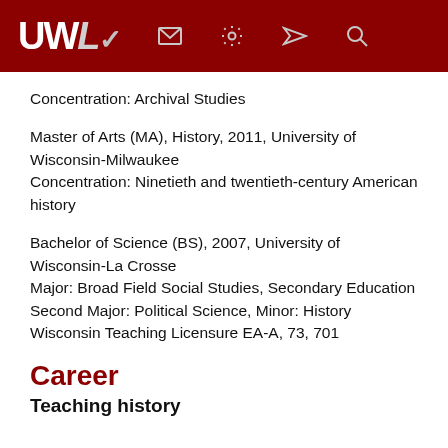UWL [header with navigation icons]
Concentration: Archival Studies
Master of Arts (MA), History, 2011, University of Wisconsin-Milwaukee
Concentration: Ninetieth and twentieth-century American history
Bachelor of Science (BS), 2007, University of Wisconsin-La Crosse
Major: Broad Field Social Studies, Secondary Education
Second Major: Political Science, Minor: History
Wisconsin Teaching Licensure EA-A, 73, 701
Career
Teaching history